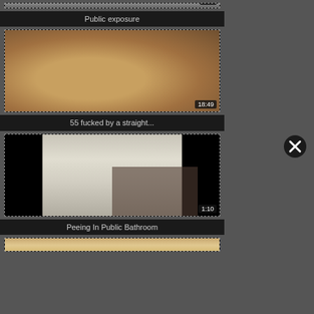Public exposure
[Figure (screenshot): Video thumbnail with duration badge 18:49, person wearing yellow cap]
55 fucked by a straight...
[Figure (screenshot): Video thumbnail with duration badge 1:10, urinal bathroom scene]
Peeing In Public Bathroom
[Figure (screenshot): Partial video thumbnail at bottom, wooden surface]